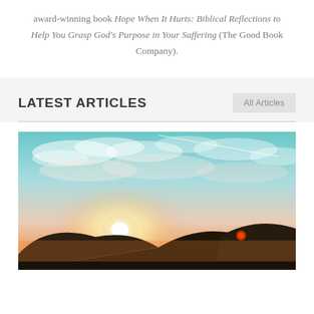award-winning book Hope When It Hurts: Biblical Reflections to Help You Grasp God's Purpose in Your Suffering (The Good Book Company).
LATEST ARTICLES
[Figure (photo): Landscape photo of a sunset or sunrise over mountains/hills, with warm orange and yellow tones near the horizon, a bright white light source (sun) rising from behind hills on the left, a red circular orb visible on the right side near the hills, and a blue-teal sky with clouds above.]